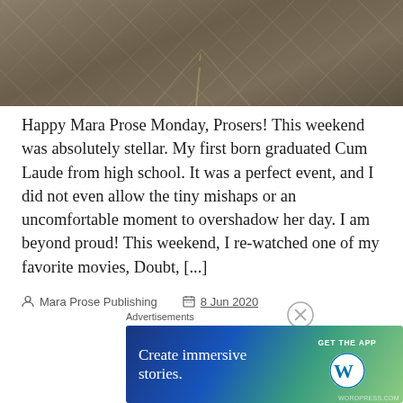[Figure (photo): Top portion of a road/highway photograph in dark brownish-gray tones, partially cropped]
Happy Mara Prose Monday, Prosers! This weekend was absolutely stellar. My first born graduated Cum Laude from high school. It was a perfect event, and I did not even allow the tiny mishaps or an uncomfortable moment to overshadow her day. I am beyond proud! This weekend, I re-watched one of my favorite movies, Doubt, [...]
Mara Prose Publishing   8 Jun 2020
Advertisements
[Figure (screenshot): WordPress advertisement banner: 'Create immersive stories.' with GET THE APP button and WordPress logo]